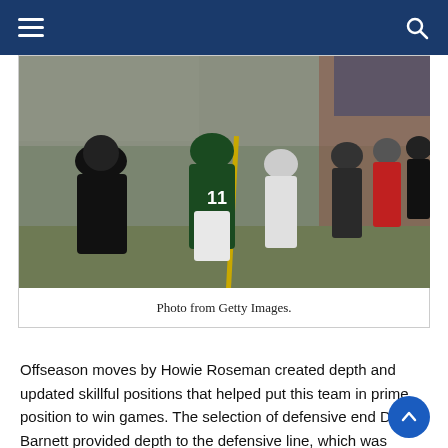Navigation bar with hamburger menu and search icon
[Figure (photo): Philadelphia Eagles quarterback wearing jersey #11 walking off the field through a tunnel, accompanied by staff members in black and white shirts, with camera crew on the right side. Photo taken from behind showing the player's back.]
Photo from Getty Images.
Offseason moves by Howie Roseman created depth and updated skillful positions that helped put this team in prime position to win games. The selection of defensive end Derek Barnett provided depth to the defensive line, which was already the most skilled unit of the team. The signing of wide